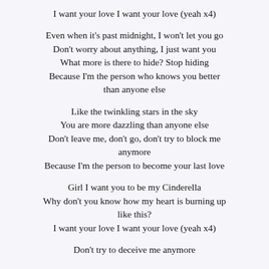I want your love I want your love (yeah x4)
Even when it’s past midnight, I won’t let you go
Don’t worry about anything, I just want you
What more is there to hide? Stop hiding
Because I’m the person who knows you better than anyone else
Like the twinkling stars in the sky
You are more dazzling than anyone else
Don’t leave me, don’t go, don’t try to block me anymore
Because I’m the person to become your last love
Girl I want you to be my Cinderella
Why don’t you know how my heart is burning up like this?
I want your love I want your love (yeah x4)
Don’t try to deceive me anymore